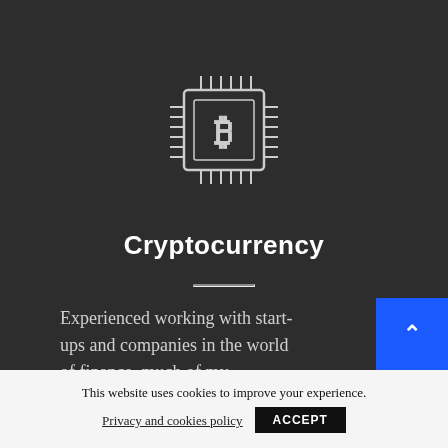[Figure (logo): Bitcoin/cryptocurrency chip logo: a microchip outline with the Bitcoin 'B' symbol in the center, rendered in white line art on dark background]
Cryptocurrency
Experienced working with start-ups and companies in the world of finance, much of my
This website uses cookies to improve your experience.
Privacy and cookies policy   ACCEPT